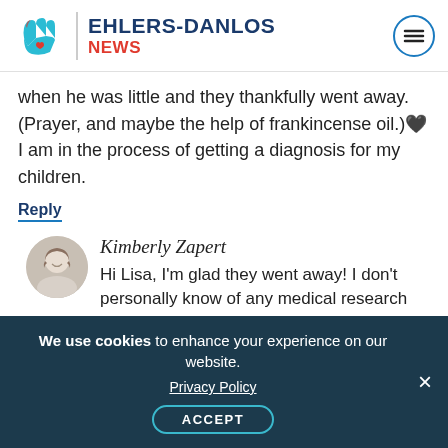EHLERS-DANLOS NEWS
when he was little and they thankfully went away. (Prayer, and maybe the help of frankincense oil.) 🖤 I am in the process of getting a diagnosis for my children.
Reply
Kimberly Zapert
Hi Lisa, I'm glad they went away! I don't personally know of any medical research to-date showing a direct relationship
We use cookies to enhance your experience on our website. Privacy Policy ACCEPT